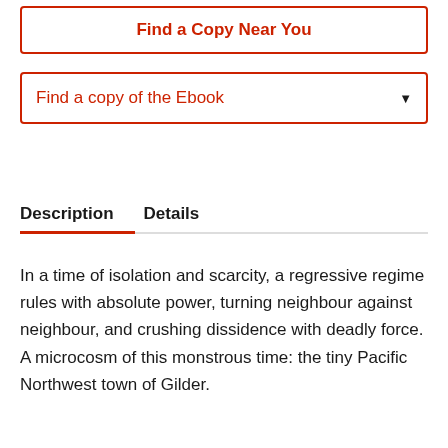Find a Copy Near You
Find a copy of the Ebook
Description   Details
In a time of isolation and scarcity, a regressive regime rules with absolute power, turning neighbour against neighbour, and crushing dissidence with deadly force. A microcosm of this monstrous time: the tiny Pacific Northwest town of Gilder.